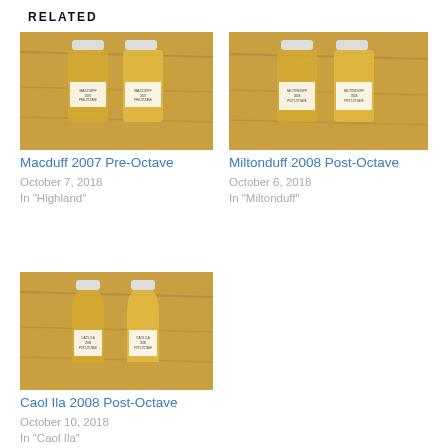RELATED
[Figure (photo): Two small whisky sample bottles on a wooden surface, labeled Macduff 2007 Pre-Octave]
Macduff 2007 Pre-Octave
October 7, 2018
In "Highland"
[Figure (photo): Two small whisky sample bottles on a wooden surface, labeled Miltonduff 2008 Post-Octave]
Miltonduff 2008 Post-Octave
October 6, 2018
In "Miltonduff"
[Figure (photo): Two small whisky sample bottles on a wooden surface, labeled Caol Ila 2008 Post-Octave]
Caol Ila 2008 Post-Octave
October 10, 2018
In "Caol Ila"